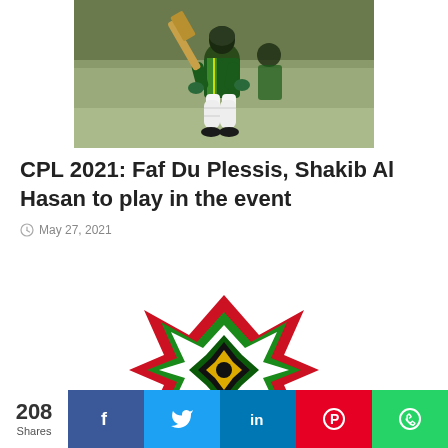[Figure (photo): Cricket player (Faf Du Plessis) in green and yellow South Africa kit holding a bat, raising it aloft, with another player in background]
CPL 2021: Faf Du Plessis, Shakib Al Hasan to play in the event
May 27, 2021
[Figure (logo): Guyana Amazon Warriors CPL team logo — colorful star/X shape in red, green, black, white, yellow with 'GUYANA' text at bottom]
208 Shares  [Facebook] [Twitter] [LinkedIn] [Pinterest] [WhatsApp]